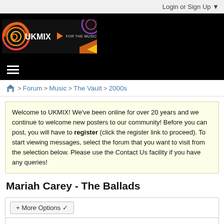Login or Sign Up ▼
[Figure (logo): UKMIX logo banner on black background with text FOR THE MUSIC // BY THE FANS and colorful graphic elements]
≡ (hamburger menu icon)
🏠 > Forum > Music > The Vault > 2000s
Welcome to UKMIX! We've been online for over 20 years and we continue to welcome new posters to our community! Before you can post, you will have to register (click the register link to proceed). To start viewing messages, select the forum that you want to visit from the selection below. Please use the Contact Us facility if you have any queries!
Mariah Carey - The Ballads
+ More Options ▾
Filter ▼